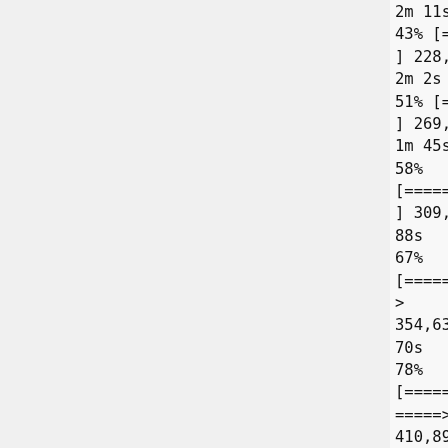2m 11s
43% [================>
] 228,489,783 2.43M/s  eta 2m 2s
51% [===================>
] 269,462,391 2.41M/s  eta 1m 45s
58%
[======================>
] 309,395,335 2.48M/s  eta 88s
67%
[========================
>                    ]
354,638,095 2.41M/s  eta 70s
78%
[========================
=====>               ]
410,898,984 2.41M/s  eta 47s
84%
[========================
=======>             ]
444,207,328 2.42M/s  eta